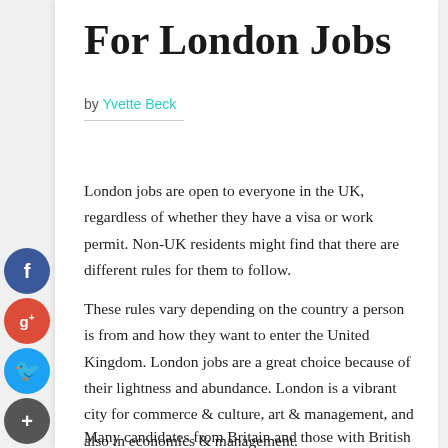For London Jobs
by Yvette Beck
London jobs are open to everyone in the UK, regardless of whether they have a visa or work permit. Non-UK residents might find that there are different rules for them to follow.
These rules vary depending on the country a person is from and how they want to enter the United Kingdom. London jobs are a great choice because of their lightness and abundance. London is a vibrant city for commerce & culture, art & management, and also in economics & management.
Many candidates from Britain and those with British citizenship have found London jobs rewarding. London jobs pay well, not just